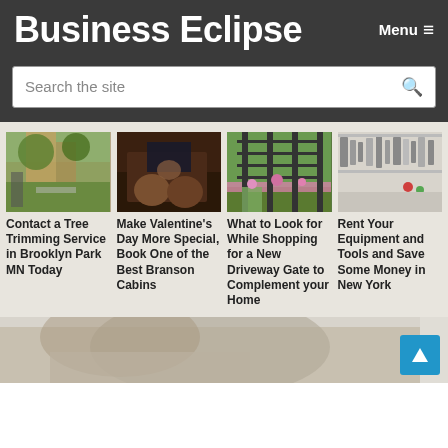Business Eclipse
Menu
Search the site
[Figure (photo): Person in a park with trees]
Contact a Tree Trimming Service in Brooklyn Park MN Today
[Figure (photo): People watching TV in a cozy room]
Make Valentine's Day More Special, Book One of the Best Branson Cabins
[Figure (photo): Iron fence gate with flowers]
What to Look for While Shopping for a New Driveway Gate to Complement your Home
[Figure (photo): Tools and equipment on a wall]
Rent Your Equipment and Tools and Save Some Money in New York
[Figure (photo): Person leaning forward, partially visible at bottom]